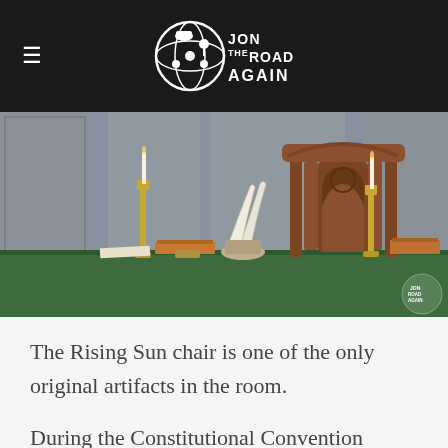Jon the Road Again (logo)
[Figure (photo): A historical desk or table draped in green felt with quill pens in an inkwell, candlesticks, books, and a carved wooden Chippendale chair (the Rising Sun chair) in the background, along with a logo watermark in the bottom right corner.]
The Rising Sun chair is one of the only original artifacts in the room.
During the Constitutional Convention debates, Benjamin Franklin looked at